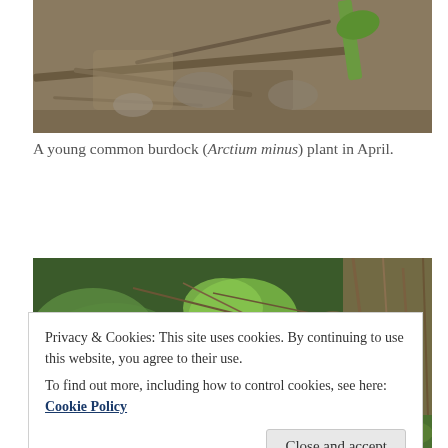[Figure (photo): Top portion of a photo showing ground-level view with dry twigs, soil, and a green plant stem visible, partial crop of common burdock plant photo]
A young common burdock (Arctium minus) plant in April.
[Figure (photo): Photo of large-leaved common burdock (Arctium minus) plants with broad green leaves growing among dried twigs and vegetation]
Privacy & Cookies: This site uses cookies. By continuing to use this website, you agree to their use.
To find out more, including how to control cookies, see here: Cookie Policy
[Figure (photo): Bottom partial crop of another plant photo, green foliage visible]